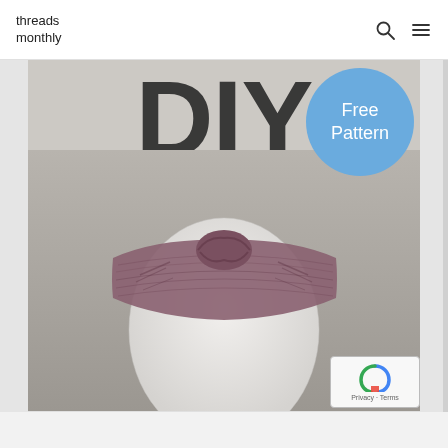threads monthly
[Figure (photo): Website screenshot of threads monthly blog showing a DIY headband in mauve/burgundy twisted style on a white mannequin head, with large DIY text behind, and a blue circular badge reading 'Free Pattern']